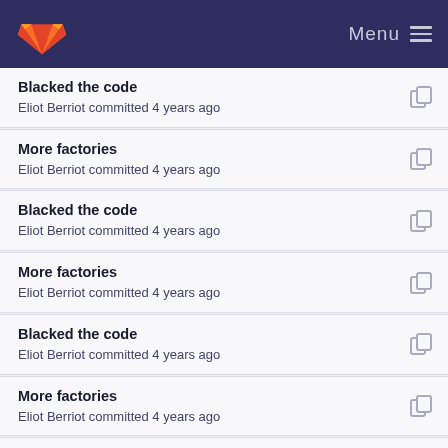GitLab Menu
Blacked the code
Eliot Berriot committed 4 years ago
More factories
Eliot Berriot committed 4 years ago
Blacked the code
Eliot Berriot committed 4 years ago
More factories
Eliot Berriot committed 4 years ago
Blacked the code
Eliot Berriot committed 4 years ago
More factories
Eliot Berriot committed 4 years ago
Blacked the code
Eliot Berriot committed 4 years ago
More factories
Eliot Berriot committed 4 years ago